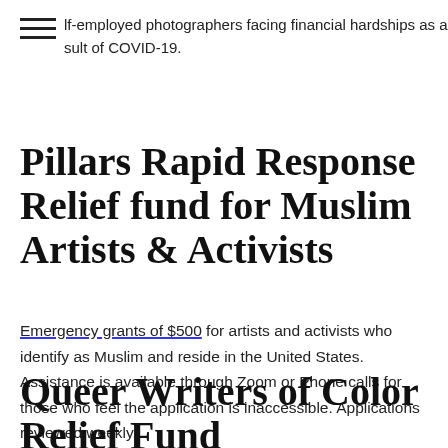lf-employed photographers facing financial hardships as a sult of COVID-19.
Pillars Rapid Response Relief fund for Muslim Artists & Activists
Emergency grants of $500 for artists and activists who identify as Muslim and reside in the United States. Assistance is available through Zoom or Phone calls for those who feel the application is inaccessible. Applications reviewed weekly.
Queer Writers of Color Relief Fund